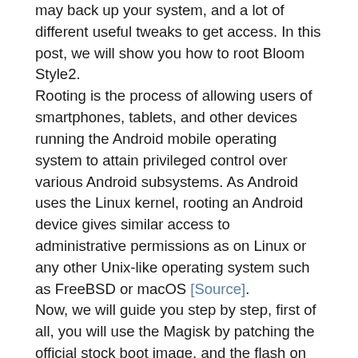may back up your system, and a lot of different useful tweaks to get access. In this post, we will show you how to root Bloom Style2. Rooting is the process of allowing users of smartphones, tablets, and other devices running the Android mobile operating system to attain privileged control over various Android subsystems. As Android uses the Linux kernel, rooting an Android device gives similar access to administrative permissions as on Linux or any other Unix-like operating system such as FreeBSD or macOS [Source]. Now, we will guide you step by step, first of all, you will use the Magisk by patching the official stock boot image, and the flash on the Bloom Style2 boot partition. You must need to download the patched image file from Magisk Manager and flash it. Many people don't know about rooting and they compare rooting with hacking. Here we want to clarify that rooting is disparate from hacking. You can unlock your different